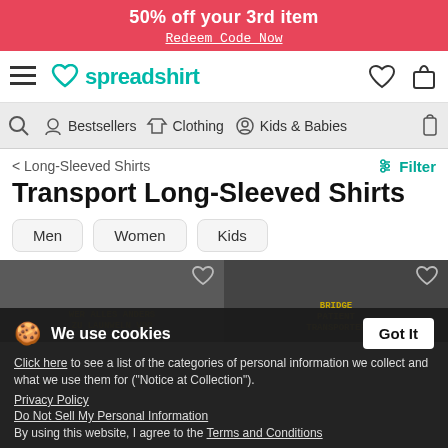50% off your 3rd item
Redeem Code Now
[Figure (screenshot): Spreadshirt logo with teal heart icon and teal text, hamburger menu, heart and cart icons]
[Figure (screenshot): Navigation bar with search, Bestsellers, Clothing, Kids & Babies, and bag icon]
< Long-Sleeved Shirts
Filter
Transport Long-Sleeved Shirts
Men
Women
Kids
[Figure (photo): Two product images of dark long-sleeved shirts with text graphics, partially visible]
We use cookies
Click here to see a list of the categories of personal information we collect and what we use them for ("Notice at Collection").
Privacy Policy
Do Not Sell My Personal Information
By using this website, I agree to the Terms and Conditions